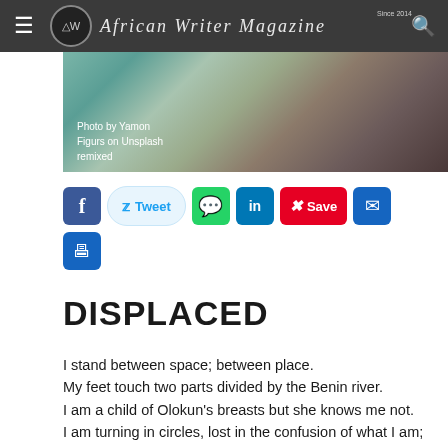African Writer Magazine — Since 2014
[Figure (photo): A moody nature/forest photo with teal and brown tones. Photo credit: Photo by Yamon Figurs on Unsplash remixed]
Photo by Yamon Figurs on Unsplash remixed
[Social share buttons: Facebook, Tweet, WhatsApp, LinkedIn, Pinterest Save, Email, Print]
DISPLACED
I stand between space; between place.
My feet touch two parts divided by the Benin river.
I am a child of Olokun's breasts but she knows me not.
I am turning in circles, lost in the confusion of what I am;
Am I the colour of my skin or the words of my